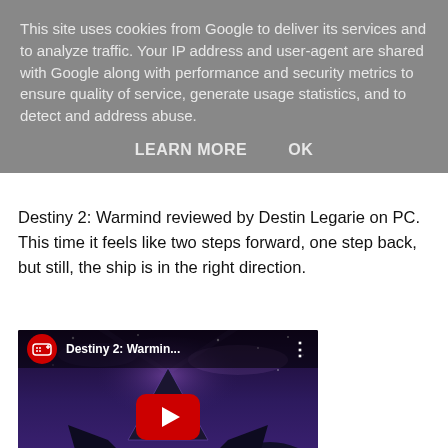This site uses cookies from Google to deliver its services and to analyze traffic. Your IP address and user-agent are shared with Google along with performance and security metrics to ensure quality of service, generate usage statistics, and to detect and address abuse.
LEARN MORE    OK
Destiny 2: Warmind reviewed by Destin Legarie on PC. This time it feels like two steps forward, one step back, but still, the ship is in the right direction.
[Figure (screenshot): YouTube video thumbnail for Destiny 2: Warmind review, showing a dark sci-fi landscape with a pyramid structure. A red YouTube play button is centered. A red REVIEW banner is in the bottom left. The video top bar shows the YouTube logo and title 'Destiny 2: Warmin...']